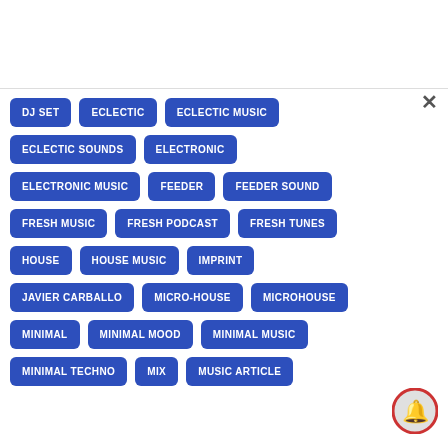DJ SET
ECLECTIC
ECLECTIC MUSIC
ECLECTIC SOUNDS
ELECTRONIC
ELECTRONIC MUSIC
FEEDER
FEEDER SOUND
FRESH MUSIC
FRESH PODCAST
FRESH TUNES
HOUSE
HOUSE MUSIC
IMPRINT
JAVIER CARBALLO
MICRO-HOUSE
MICROHOUSE
MINIMAL
MINIMAL MOOD
MINIMAL MUSIC
MINIMAL TECHNO
MIX
MUSIC ARTICLE